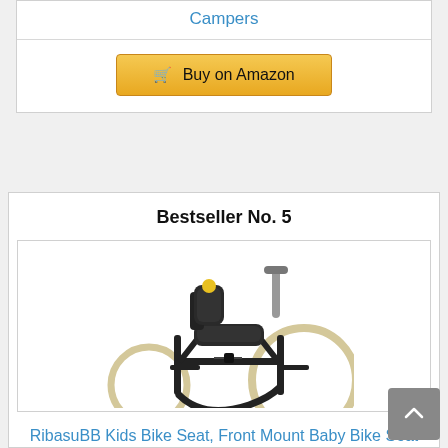Campers
Buy on Amazon
Bestseller No. 5
[Figure (photo): A black metal front-mount child bike seat attached to a bicycle frame, with a padded seat and backrest, footrests visible, mounted between handlebars and main frame of a bicycle.]
RibasuBB Kids Bike Seat, Front Mount Baby Bike Seat for Adult Bike, Universal Toddler Bike Seat,...